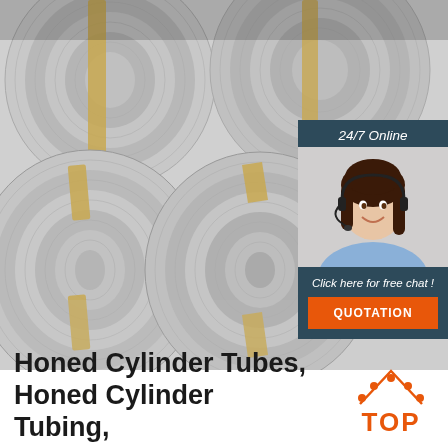[Figure (photo): Photo of steel coil rolls stacked together with yellow/gold banding straps, viewed from the front showing circular cross-sections of rolled steel sheets]
[Figure (infographic): 24/7 Online chat widget overlay showing a smiling customer service representative with headset, text 'Click here for free chat!' and an orange QUOTATION button]
[Figure (logo): TOP logo with orange arc/dots above the word TOP in orange text]
Honed Cylinder Tubes, Honed Cylinder Tubing,